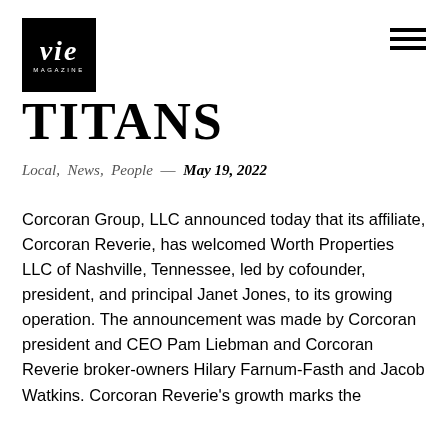VIE MAGAZINE
TITANS
Local,  News,  People  —  May 19, 2022
Corcoran Group, LLC announced today that its affiliate, Corcoran Reverie, has welcomed Worth Properties LLC of Nashville, Tennessee, led by cofounder, president, and principal Janet Jones, to its growing operation. The announcement was made by Corcoran president and CEO Pam Liebman and Corcoran Reverie broker-owners Hilary Farnum-Fasth and Jacob Watkins. Corcoran Reverie's growth marks the